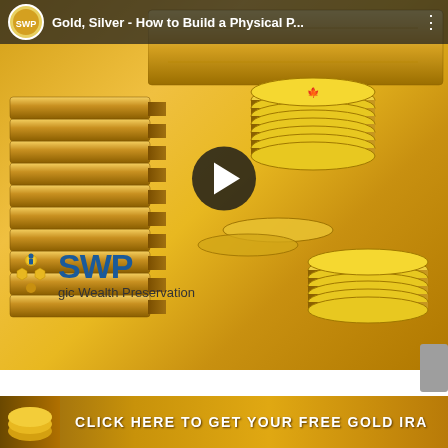[Figure (screenshot): YouTube video thumbnail showing stacked gold coins and gold bars with a play button overlay. The video is titled 'Gold, Silver - How to Build a Physical P...' from a channel with an SWP (Strategic Wealth Preservation) logo. Bottom left shows the SWP logo with text 'Strategic Wealth Preservation'. A dark semi-transparent top bar shows the channel avatar, video title, and a three-dot menu. A black circular play button is centered on the image.]
CLICK HERE TO GET YOUR FREE GOLD IRA